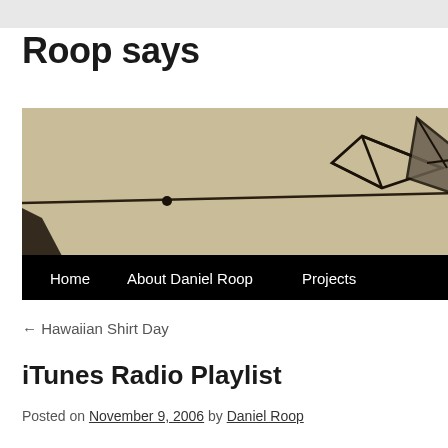Roop says
[Figure (illustration): Hand-drawn sketch banner image showing geometric kite-like shapes with lines on a tan/beige background, with a black navigation bar at the bottom containing links: Home, About Daniel Roop, Projects]
← Hawaiian Shirt Day
iTunes Radio Playlist
Posted on November 9, 2006 by Daniel Roop